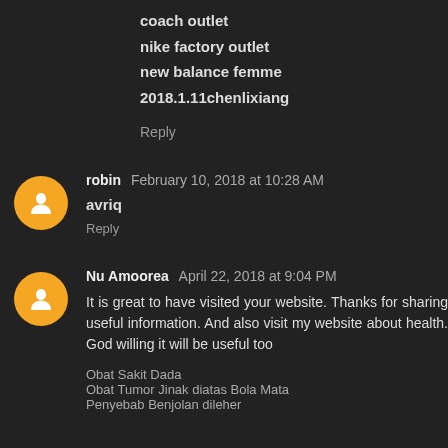coach outlet
nike factory outlet
new balance femme
2018.1.11chenlixiang
Reply
robin  February 10, 2018 at 10:28 AM
avriq
Reply
Nu Amoorea  April 22, 2018 at 9:04 PM
It is great to have visited your website. Thanks for sharing useful information. And also visit my website about health. God willing it will be useful too
Obat Sakit Dada
Obat Tumor Jinak diatas Bola Mata
Penyebab Benjolan dileher